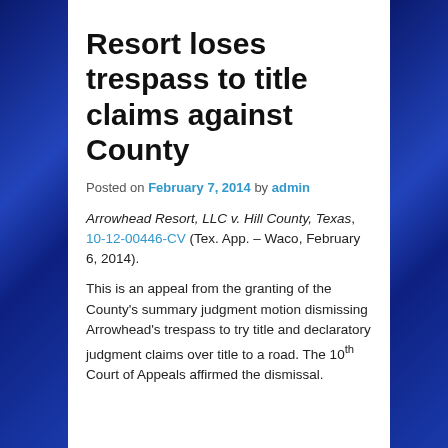Resort loses trespass to title claims against County
Posted on February 7, 2014 by admin
Arrowhead Resort, LLC v. Hill County, Texas, 10-12-00446-CV (Tex. App. – Waco, February 6, 2014).
This is an appeal from the granting of the County's summary judgment motion dismissing Arrowhead's trespass to try title and declaratory judgment claims over title to a road. The 10th Court of Appeals affirmed the dismissal.